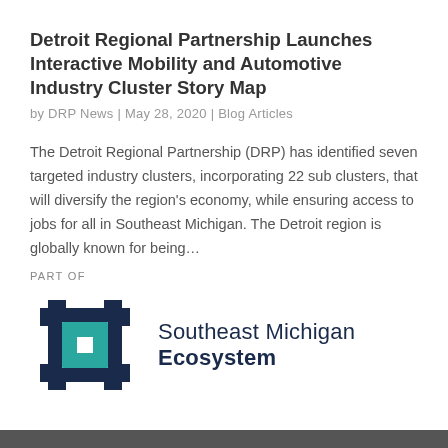Detroit Regional Partnership Launches Interactive Mobility and Automotive Industry Cluster Story Map
by DRP News | May 28, 2020 | Blog Articles
The Detroit Regional Partnership (DRP) has identified seven targeted industry clusters, incorporating 22 sub clusters, that will diversify the region's economy, while ensuring access to jobs for all in Southeast Michigan. The Detroit region is globally known for being...
PART OF
[Figure (logo): Southeast Michigan Ecosystem logo with geometric interconnected squares icon in teal and dark navy blue, followed by text 'Southeast Michigan Ecosystem']